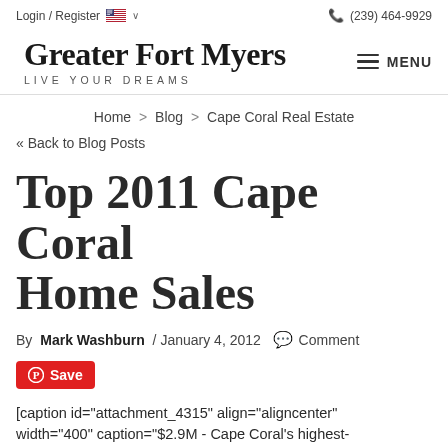Login / Register  🇺🇸 ∨  (239) 464-9929
Greater Fort Myers
LIVE YOUR DREAMS
Home > Blog > Cape Coral Real Estate
« Back to Blog Posts
Top 2011 Cape Coral Home Sales
By Mark Washburn / January 4, 2012  Comment
Save
[caption id="attachment_4315" align="aligncenter" width="400" caption="$2.9M - Cape Coral's highest-